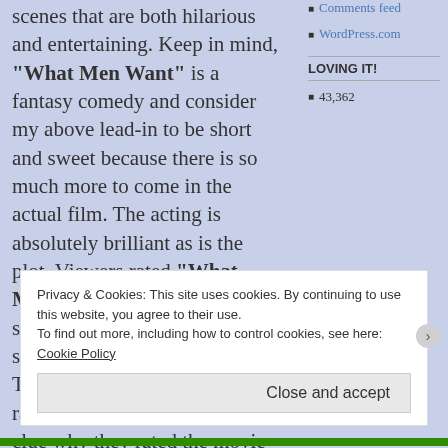scenes that are both hilarious and entertaining. Keep in mind, "What Men Want" is a fantasy comedy and consider my above lead-in to be short and sweet because there is so much more to come in the actual film. The acting is absolutely brilliant as is the plot. Viewers rated "What Men Want" five out of five stars, I don't think I've ever seen that happen before. Rotten Tomatoes was just that, a rotten rating of only 43%. I have no clue why they rated the movie so low but I really enjoyed it. Check It Out, you won't be sorry.
Comments feed
WordPress.com
LOVING IT!
43,362
Privacy & Cookies: This site uses cookies. By continuing to use this website, you agree to their use.
To find out more, including how to control cookies, see here: Cookie Policy
Close and accept